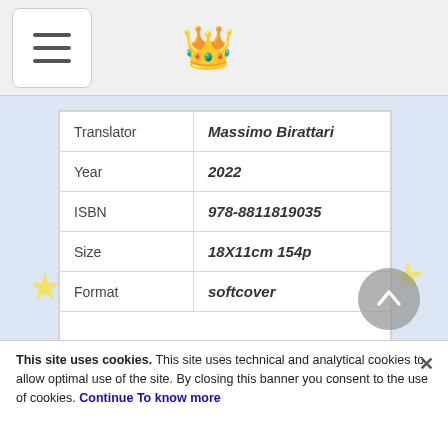Navigation bar with hamburger menu and logo
| Translator | Massimo Birattari |
| Year | 2022 |
| ISBN | 978-8811819035 |
| Size | 18X11cm 154p |
| Format | softcover |
|  |  |
This site uses cookies. This site uses technical and analytical cookies to allow optimal use of the site. By closing this banner you consent to the use of cookies. Continue To know more